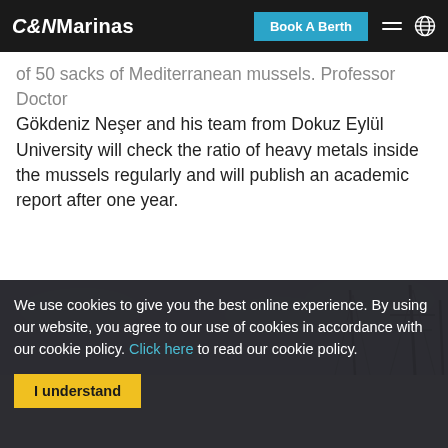C&N Marinas | Book A Berth
of 50 sacks of Mediterranean mussels. Professor Doctor Gökdeniz Neşer and his team from Dokuz Eylül University will check the ratio of heavy metals inside the mussels regularly and will publish an academic report after one year.
[Figure (photo): Boat masts against a cloudy sky]
We use cookies to give you the best online experience. By using our website, you agree to our use of cookies in accordance with our cookie policy. Click here to read our cookie policy.
I understand